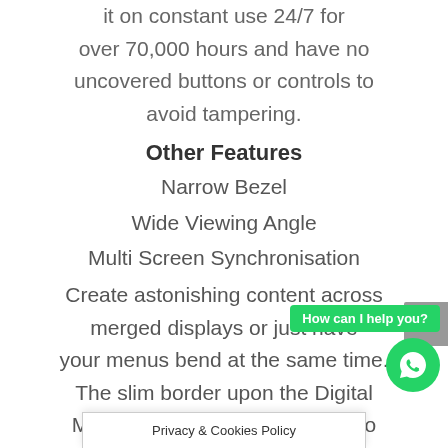it on constant use 24/7 for over 70,000 hours and have no uncovered buttons or controls to avoid tampering.
Other Features
Narrow Bezel
Wide Viewing Angle
Multi Screen Synchronisation
Create astonishing content across merged displays or just have your menus bend at the same time. The slim border upon the Digital Menu Boards allows your menu to take centre st... an
How can I help you?
Privacy & Cookies Policy